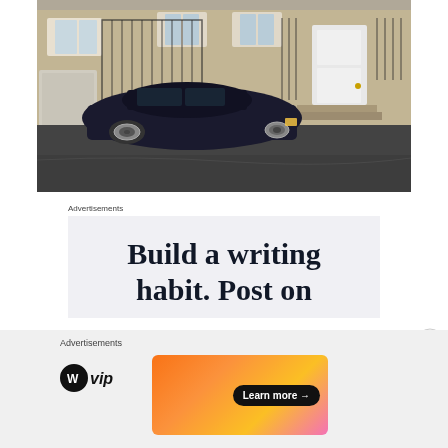[Figure (photo): A dark blue BMW sedan parked on a wet street in front of a stone building with white door and iron railings]
Advertisements
[Figure (infographic): Advertisement with text 'Build a writing habit. Post on' on light grey background]
Advertisements
[Figure (infographic): WordPress VIP advertisement with logo on left and 'Learn more' button on gradient orange/pink background on right]